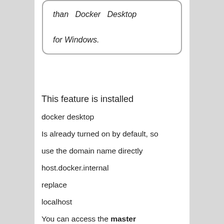than Docker Desktop for Windows.
This feature is installed
docker desktop
Is already turned on by default, so
use the domain name directly
host.docker.internal
replace
localhost
You can access the master dispatcher service interface.
Install vim